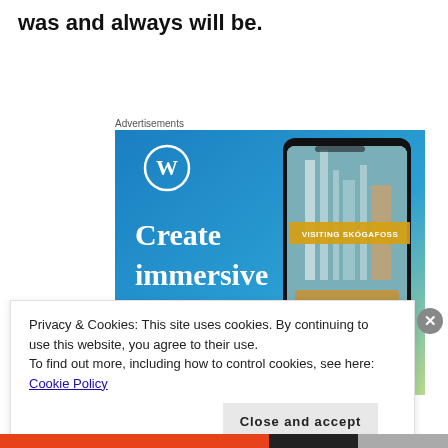was and always will be.
Advertisements
[Figure (screenshot): WordPress advertisement showing a smartphone with a waterfall photo and text 'Create immersive stories.' with 'VISITING SKOGAFOSS' overlay on a blue-green gradient background with WordPress logo.]
Privacy & Cookies: This site uses cookies. By continuing to use this website, you agree to their use.
To find out more, including how to control cookies, see here: Cookie Policy